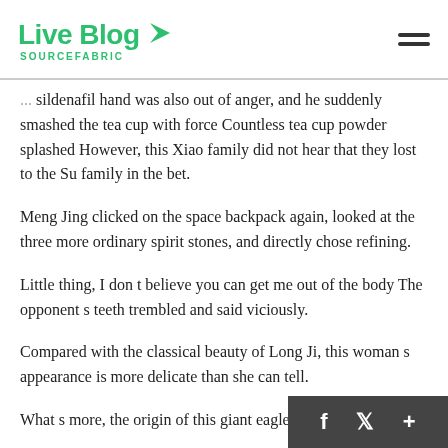Live Blog SOURCEFABRIC
sildenafil hand was also out of anger, and he suddenly smashed the tea cup with force Countless tea cup powder splashed However, this Xiao family did not hear that they lost to the Su family in the bet.
Meng Jing clicked on the space backpack again, looked at the three more ordinary spirit stones, and directly chose refining.
Little thing, I don t believe you can get me out of the body The opponent s teeth trembled and said viciously.
Compared with the classical beauty of Long Ji, this woman s appearance is more delicate than she can tell.
What s more, the origin of this giant eagle facts a